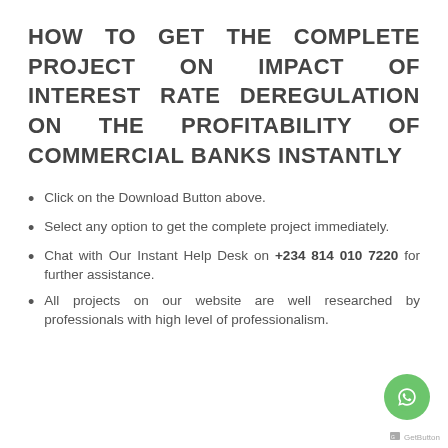HOW TO GET THE COMPLETE PROJECT ON IMPACT OF INTEREST RATE DEREGULATION ON THE PROFITABILITY OF COMMERCIAL BANKS INSTANTLY
Click on the Download Button above.
Select any option to get the complete project immediately.
Chat with Our Instant Help Desk on +234 814 010 7220 for further assistance.
All projects on our website are well researched by professionals with high level of professionalism.
GetButton